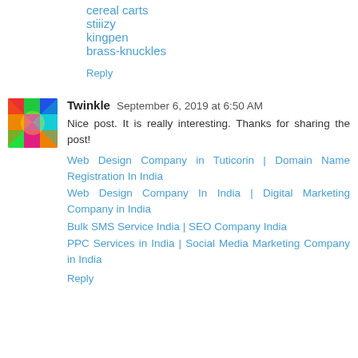cereal carts
stiiizy
kingpen
brass-knuckles
Reply
[Figure (photo): Colorful abstract avatar image for user Twinkle]
Twinkle  September 6, 2019 at 6:50 AM
Nice post. It is really interesting. Thanks for sharing the post!
Web Design Company in Tuticorin | Domain Name Registration In India
Web Design Company In India | Digital Marketing Company in India
Bulk SMS Service India | SEO Company India
PPC Services in India | Social Media Marketing Company in India
Reply